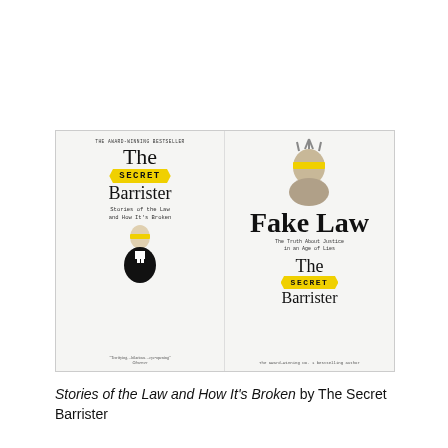[Figure (illustration): Two book covers side by side. Left: 'The Secret Barrister – Stories of the Law and How It's Broken' with a yellow-blindfolded barrister figure and yellow SECRET banner. Right: 'Fake Law – The Truth About Justice in an Age of Lies' by The Secret Barrister, with a crowned justice figure wearing a yellow blindfold.]
Stories of the Law and How It's Broken by The Secret Barrister